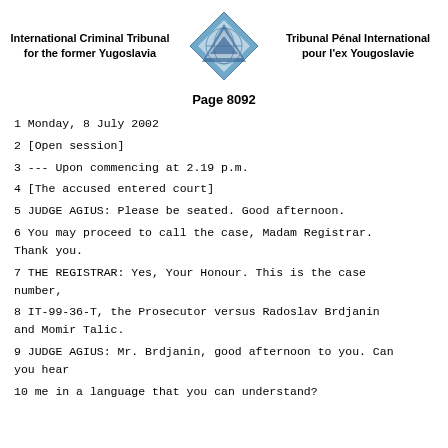International Criminal Tribunal for the former Yugoslavia | Tribunal Pénal International pour l'ex Yougoslavie
Page 8092
1 Monday, 8 July 2002
2 [Open session]
3 --- Upon commencing at 2.19 p.m.
4 [The accused entered court]
5 JUDGE AGIUS: Please be seated. Good afternoon.
6 You may proceed to call the case, Madam Registrar. Thank you.
7 THE REGISTRAR: Yes, Your Honour. This is the case number,
8 IT-99-36-T, the Prosecutor versus Radoslav Brdjanin and Momir Talic.
9 JUDGE AGIUS: Mr. Brdjanin, good afternoon to you. Can you hear
10 me in a language that you can understand?